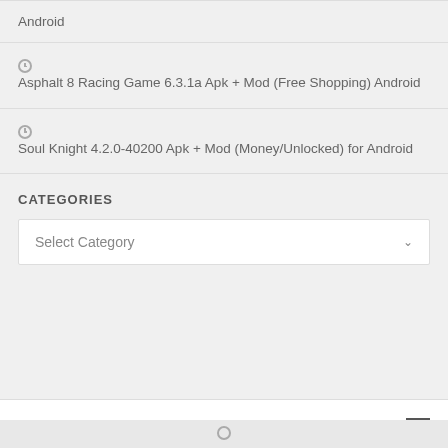Android
Asphalt 8 Racing Game 6.3.1a Apk + Mod (Free Shopping) Android
Soul Knight 4.2.0-40200 Apk + Mod (Money/Unlocked) for Android
CATEGORIES
Select Category